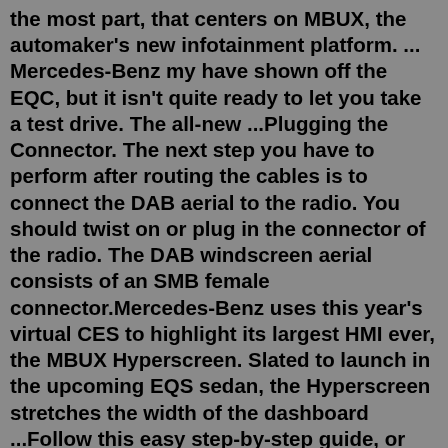the most part, that centers on MBUX, the automaker's new infotainment platform. ... Mercedes-Benz my have shown off the EQC, but it isn't quite ready to let you take a test drive. The all-new ...Plugging the Connector. The next step you have to perform after routing the cables is to connect the DAB aerial to the radio. You should twist on or plug in the connector of the radio. The DAB windscreen aerial consists of an SMB female connector.Mercedes-Benz uses this year's virtual CES to highlight its largest HMI ever, the MBUX Hyperscreen. Slated to launch in the upcoming EQS sedan, the Hyperscreen stretches the width of the dashboard ...Follow this easy step-by-step guide, or watch the video above to learn how pair your Android phone to your new Mercedes-Benz with Android Auto. Connect your Android phone with a USB cord to the USB port that has the smartphone integration symbol found in your vehicle's center console.The first recall includes about 36,000 model year 2019-2021 Mercedes-Benz Sprinter and Freightliner Sprinter vans with a ...